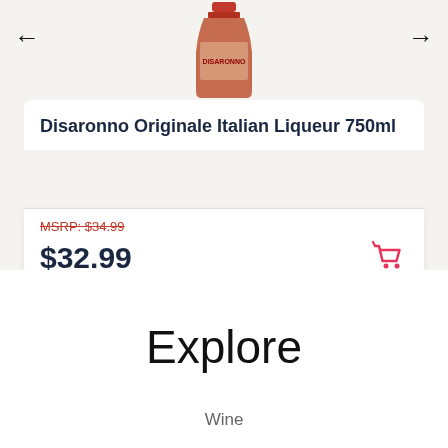[Figure (photo): Partial view of Disaronno Originale Italian Liqueur 750ml bottle, showing the top portion with red cap and label]
Disaronno Originale Italian Liqueur 750ml
MSRP: $34.99
$32.99
Explore
Wine